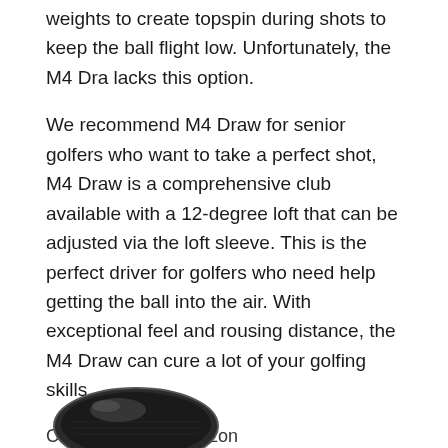weights to create topspin during shots to keep the ball flight low. Unfortunately, the M4 Dra lacks this option.
We recommend M4 Draw for senior golfers who want to take a perfect shot, M4 Draw is a comprehensive club available with a 12-degree loft that can be adjusted via the loft sleeve. This is the perfect driver for golfers who need help getting the ball into the air. With exceptional feel and rousing distance, the M4 Draw can cure a lot of your golfing skills.
Check Price on Amazon
6. Callaway Rogue Driver
[Figure (photo): Partial view of a black Callaway Rogue Driver golf club head]